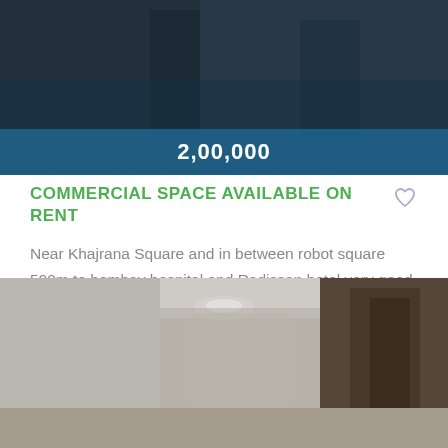[Figure (photo): Interior room photo with dark background showing a commercial space, partially visible]
2,00,000
COMMERCIAL SPACE AVAILABLE ON RENT
Near Khajrana Square and in between robot square 500m to bombay hospital and Radisson hotel very good for commercial use hospital education furniture hotel or any other commercial activity Rental Value - ₹ 2.0 Lac ₹ 20,000 Monthly Maintenance Booking...
[Figure (photo): Interior photo of a commercial hallway or corridor with white walls and ceiling lights]